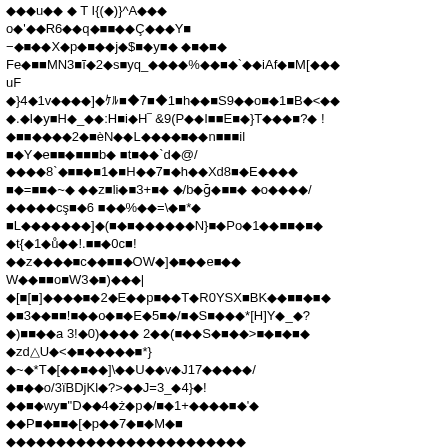Corrupted/encoded text content with diamond replacement characters and mixed symbols throughout the page. Content appears to be garbled or encoded binary data rendered as text with Unicode replacement characters (shown as diamonds).